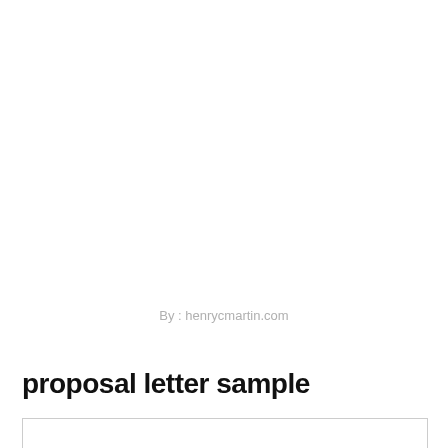By : henrycmartin.com
proposal letter sample